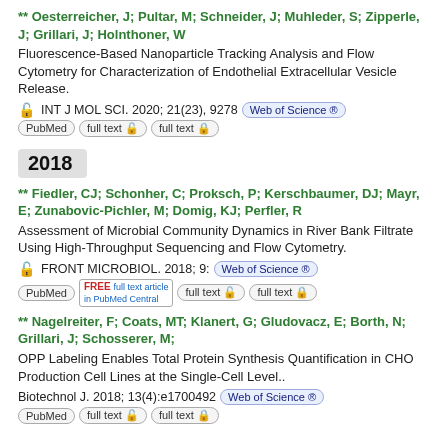** Oesterreicher, J; Pultar, M; Schneider, J; Muhleder, S; Zipperle, J; Grillari, J; Holnthoner, W
Fluorescence-Based Nanoparticle Tracking Analysis and Flow Cytometry for Characterization of Endothelial Extracellular Vesicle Release.
INT J MOL SCI. 2020; 21(23), 9278 [Web of Science] [PubMed] [full text] [full text]
2018
** Fiedler, CJ; Schonher, C; Proksch, P; Kerschbaumer, DJ; Mayr, E; Zunabovic-Pichler, M; Domig, KJ; Perfler, R
Assessment of Microbial Community Dynamics in River Bank Filtrate Using High-Throughput Sequencing and Flow Cytometry.
FRONT MICROBIOL. 2018; 9: [Web of Science] [PubMed] [FREE full text article in PubMed Central] [full text] [full text]
** Nagelreiter, F; Coats, MT; Klanert, G; Gludovacz, E; Borth, N; Grillari, J; Schosserer, M;
OPP Labeling Enables Total Protein Synthesis Quantification in CHO Production Cell Lines at the Single-Cell Level..
Biotechnol J. 2018; 13(4):e1700492 [Web of Science] [PubMed] [full text] [full text]